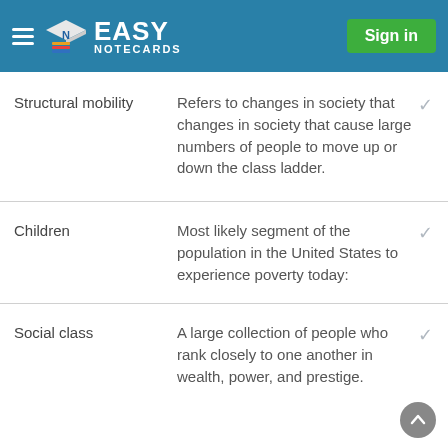Easy Notecards — Sign in
Structural mobility
Children
Social class